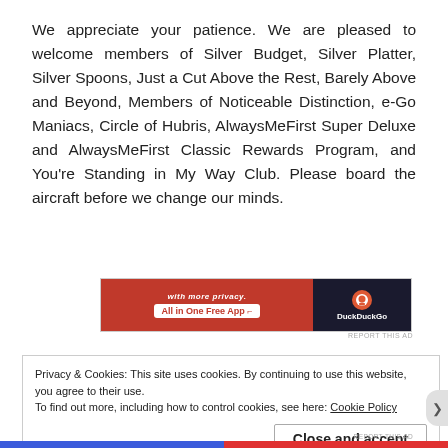We appreciate your patience. We are pleased to welcome members of Silver Budget, Silver Platter, Silver Spoons, Just a Cut Above the Rest, Barely Above and Beyond, Members of Noticeable Distinction, e-Go Maniacs, Circle of Hubris, AlwaysMeFirst Super Deluxe and AlwaysMeFirst Classic Rewards Program, and You're Standing in My Way Club. Please board the aircraft before we change our minds.
[Figure (other): DuckDuckGo advertisement banner with orange-red left section showing 'All in One Free App' button and dark right section with DuckDuckGo logo]
Privacy & Cookies: This site uses cookies. By continuing to use this website, you agree to their use.
To find out more, including how to control cookies, see here: Cookie Policy
Close and accept